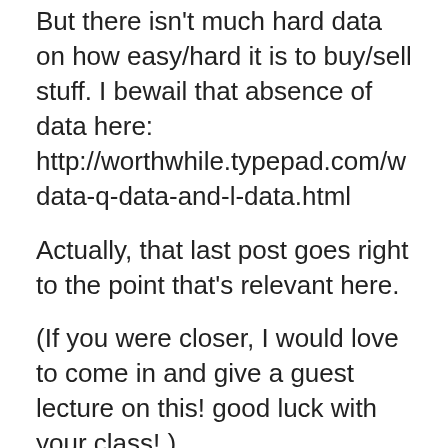But there isn't much hard data on how easy/hard it is to buy/sell stuff. I bewail that absence of data here: http://worthwhile.typepad.com/w data-q-data-and-l-data.html
Actually, that last post goes right to the point that's relevant here.
(If you were closer, I would love to come in and give a guest lecture on this! good luck with your class!.)
Posted by: Nick Rowe | July 16, 2011 at 07:07 AM
Greg: "As much of the problem is the collapse of near